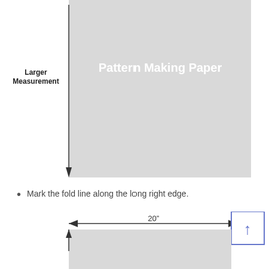[Figure (schematic): Diagram showing pattern making paper rectangle (light gray) with a vertical arrow line on the left labeled 'Larger Measurement' pointing downward, and white text 'Pattern Making Paper' centered on the gray rectangle.]
Mark the fold line along the long right edge.
[Figure (schematic): Diagram showing a 20-inch horizontal dimension arrow above a gray rectangle. A small blue-bordered box with an upward arrow appears at the top right. A vertical upward arrow appears at the top left corner of the rectangle.]